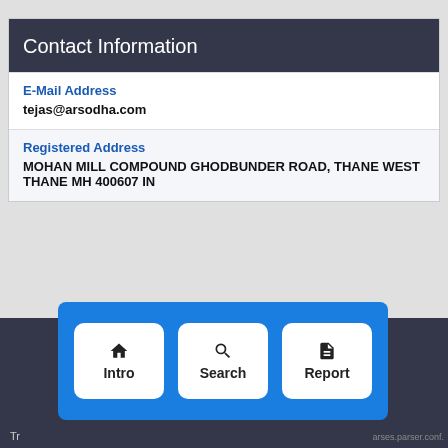Contact Information
E-Mail Address
tejas@arsodha.com
Registered Address
MOHAN MILL COMPOUND GHODBUNDER ROAD, THANE WEST THANE MH 400607 IN
[Figure (screenshot): Navigation bar with three buttons: Intro, Search, Report, shown inside a blue dashed rounded rectangle overlay]